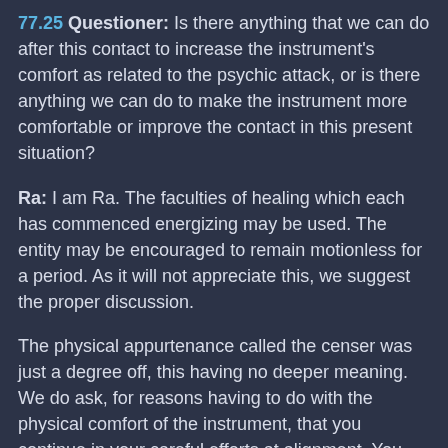77.25 Questioner: Is there anything that we can do after this contact to increase the instrument's comfort as related to the psychic attack, or is there anything we can do to make the instrument more comfortable or improve the contact in this present situation?
Ra: I am Ra. The faculties of healing which each has commenced energizing may be used. The entity may be encouraged to remain motionless for a period. As it will not appreciate this, we suggest the proper discussion.
The physical appurtenance called the censer was just a degree off, this having no deeper meaning. We do ask, for reasons having to do with the physical comfort of the instrument, that you continue in your careful efforts at alignment. You are conscientious. All is well.
We leave you, my friends, in the glorious love and light of the One Creator. Carefully, the from...